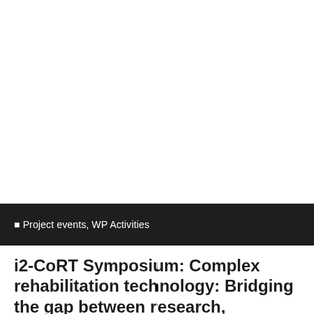Project events, WP Activities
i2-CoRT Symposium: Complex rehabilitation technology: Bridging the gap between research, technology and experience
i2-CoRT receives funding from the Interreg V-A Euregio Meus...
i2-CoRT privacy policy